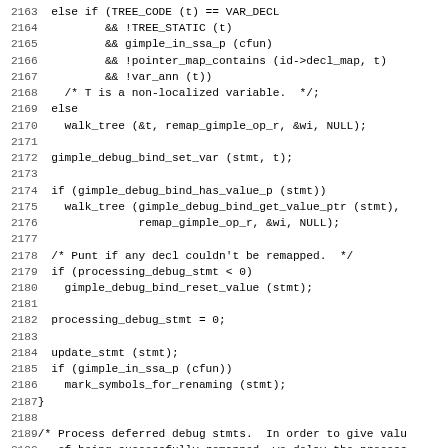[Figure (other): Source code listing (C/C++) with line numbers 2163-2194 showing compiler/gimple tree manipulation code]